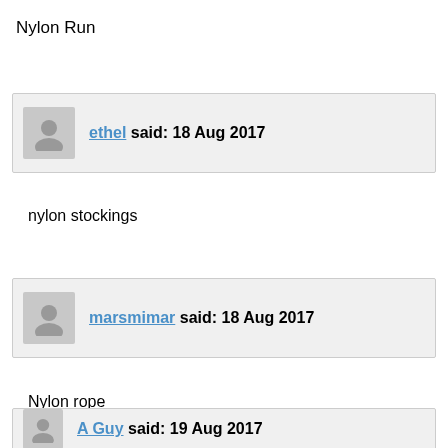Nylon Run
ethel said: 18 Aug 2017
nylon stockings
marsmimar said: 18 Aug 2017
Nylon rope
A Guy said: 19 Aug 2017